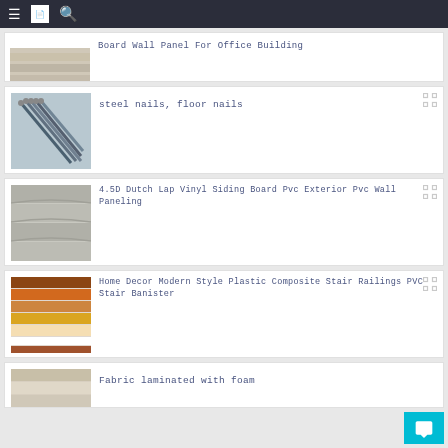Navigation bar with menu, logo, and search icons
[Figure (screenshot): Product listing: Board Wall Panel For Office Building - partially visible at top]
Board Wall Panel For Office Building
[Figure (photo): Steel nails / floor nails product image]
steel nails, floor nails
[Figure (photo): Grey vinyl siding board product image]
4.5D Dutch Lap Vinyl Siding Board Pvc Exterior Pvc Wall Paneling
[Figure (photo): Colorful plastic composite stair railings product image]
Home Decor Modern Style Plastic Composite Stair Railings PVC Stair Banister
[Figure (photo): Fabric laminated with foam product image - partially visible]
Fabric laminated with foam